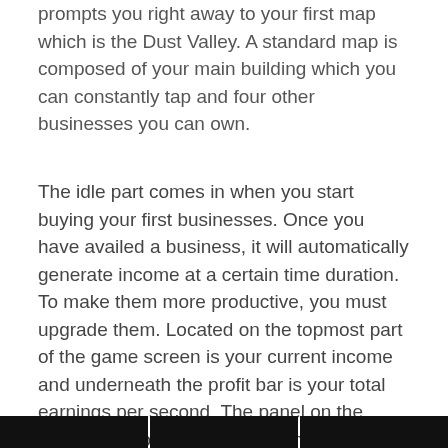prompts you right away to your first map which is the Dust Valley. A standard map is composed of your main building which you can constantly tap and four other businesses you can own.
The idle part comes in when you start buying your first businesses. Once you have availed a business, it will automatically generate income at a certain time duration. To make them more productive, you must upgrade them. Located on the topmost part of the game screen is your current income and underneath the profit bar is your total earnings per second. The panel on the lowermost portion of the screen gives you access to your Quests, Advisors, and Shop. You can also access other important features in the Main Menu including the Fortune Wheel, Crates and Bizbots.
[Figure (other): Bottom bar with three dark/black rectangular segments spanning the full width of the page]